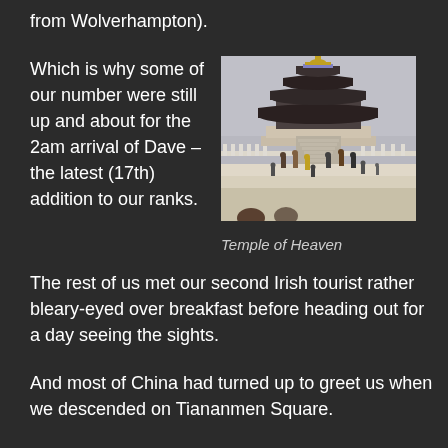from Wolverhampton).
Which is why some of our number were still up and about for the 2am arrival of Dave – the latest (17th) addition to our ranks.
[Figure (photo): Photograph of the Temple of Heaven in Beijing, China. A large ornate circular multi-tiered building with dark tiled roofs is shown. People are walking on white marble steps and terraces leading up to the structure. The sky is overcast.]
Temple of Heaven
The rest of us met our second Irish tourist rather bleary-eyed over breakfast before heading out for a day seeing the sights.
And most of China had turned up to greet us when we descended on Tiananmen Square.